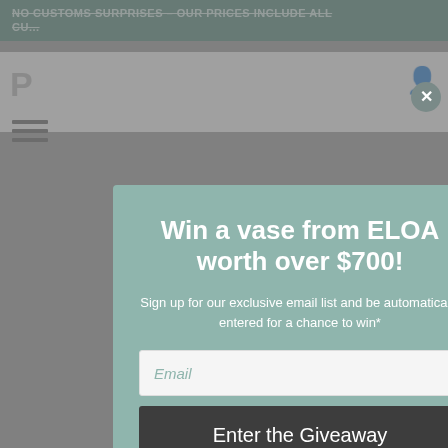NO CUSTOMS SURPRISES – OUR PRICES INCLUDE ALL CU...
[Figure (screenshot): Background website page partially visible behind modal overlay, showing navigation bar with logo 'P', hamburger menu, and user icon]
Win a vase from ELOA worth over $700!
Sign up for our exclusive email list and be automatically entered for a chance to win*
Email
Enter the Giveaway
*Please read our terms and conditions here.